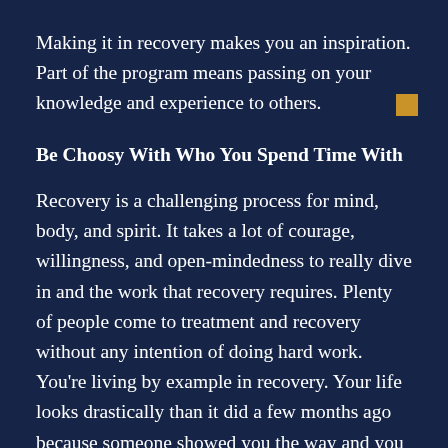Making it in recovery makes you an inspiration. Part of the program means passing on your knowledge and experience to others.
Be Choosy With Who You Spend Time With
Recovery is a challenging process for mind, body, and spirit. It takes a lot of courage, willingness, and open-mindedness to really dive in and the work that recovery requires. Plenty of people come to treatment and recovery without any intention of doing hard work. You're living by example in recovery. Your life looks drastically than it did a few months ago because someone showed you the way and you put in the hard work to get there. Differentiating between those who want to recover and those who don't isn't always easy. Most sponsees and mentees will reveal